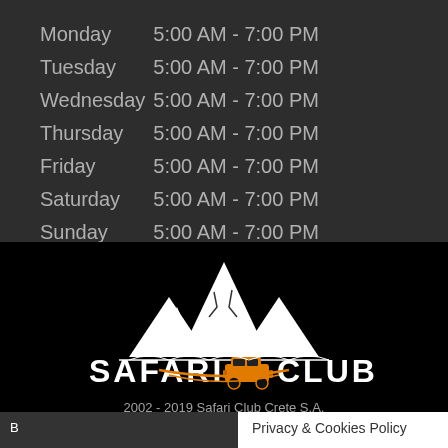| Monday | 5:00 AM - 7:00 PM |
| Tuesday | 5:00 AM - 7:00 PM |
| Wednesday | 5:00 AM - 7:00 PM |
| Thursday | 5:00 AM - 7:00 PM |
| Friday | 5:00 AM - 7:00 PM |
| Saturday | 5:00 AM - 7:00 PM |
| Sunday | 5:00 AM - 7:00 PM |
[Figure (logo): Safari Club logo with white mountain peaks illustration above text SAFARI CLUB with an orange 4WD vehicle between the words, and orange arc lines below on black background]
2002 - 2019 Safari Club Crete S.A.
Privacy & Cookies Policy